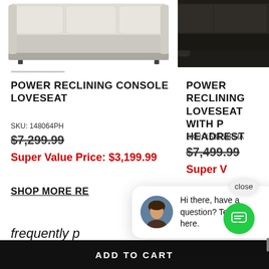[Figure (photo): Top portion of a cream/beige power reclining sofa with segmented cushions, shown from front, partially cropped]
[Figure (photo): Top portion of a dark brown/espresso power reclining sofa, partially cropped on the right side]
POWER RECLINING CONSOLE LOVESEAT
SKU: 148064PH
$7,299.99
Super Value Price: $3,199.99
POWER RECLINING LOVESEAT WITH P... HEADREST
SKU: 168164PHA
$7,499.99
Super V... rice: $...
SHOP MORE RE...
frequently p...
[Figure (screenshot): Chat popup bubble with avatar of a woman and text: Hi there, have a question? Text us here. Also shows a close button and a green chat widget button.]
ADD TO CART